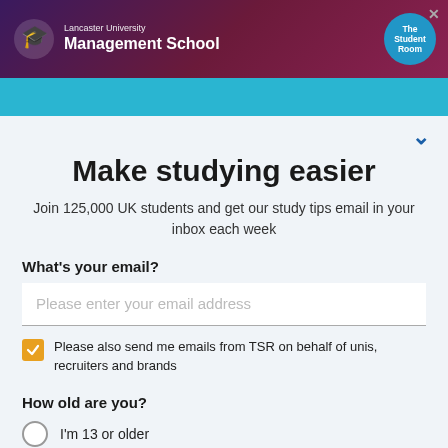[Figure (screenshot): Lancaster University Management School advertisement banner with university logo and The Student Room badge]
[Figure (screenshot): The Student Room navigation bar in teal/blue color]
Make studying easier
Join 125,000 UK students and get our study tips email in your inbox each week
What's your email?
Please enter your email address
Please also send me emails from TSR on behalf of unis, recruiters and brands
How old are you?
I'm 13 or older
I'm under 13